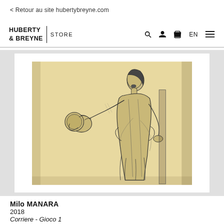< Retour au site hubertybreyne.com
HUBERTY & BREYNE | STORE
[Figure (illustration): Pencil or charcoal sketch of a woman in a form-fitting long dress, head tilted back with open mouth, one hand raised, on a warm beige/yellow paper background.]
Milo MANARA
2018
Corriere - Gioco 1
Impression numérique pigmentaire sur papier